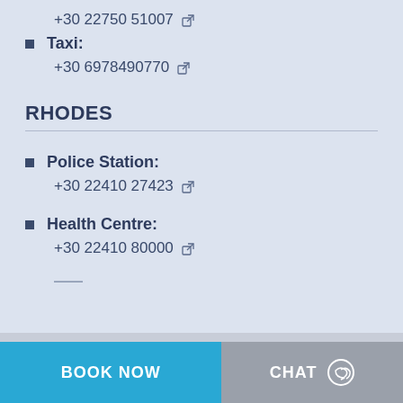+30 22750 51007
Taxi: +30 6978490770
RHODES
Police Station: +30 22410 27423
Health Centre: +30 22410 80000
(partial text cut off)
BOOK NOW   CHAT